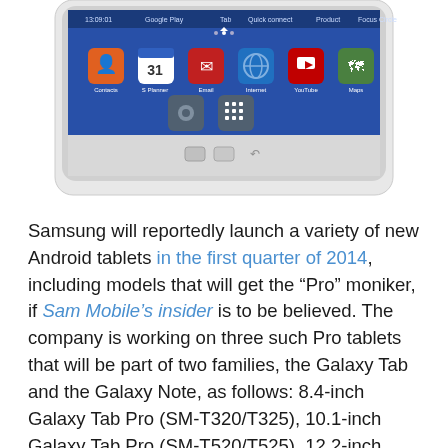[Figure (screenshot): Samsung Android tablet showing home screen with app icons including Contacts, S Planner, Email, Internet, YouTube, Maps, Settings, and Apps on a blue background]
Samsung will reportedly launch a variety of new Android tablets in the first quarter of 2014, including models that will get the “Pro” moniker, if Sam Mobile’s insider is to be believed. The company is working on three such Pro tablets that will be part of two families, the Galaxy Tab and the Galaxy Note, as follows: 8.4-inch Galaxy Tab Pro (SM-T320/T325), 10.1-inch Galaxy Tab Pro (SM-T520/T525), 12.2-inch Galaxy Note Pro 12.2 (SM-P900/P905). A “Lite” tablet is